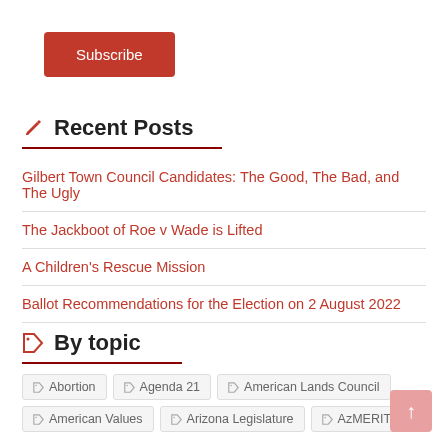Subscribe
Recent Posts
Gilbert Town Council Candidates: The Good, The Bad, and The Ugly
The Jackboot of Roe v Wade is Lifted
A Children's Rescue Mission
Ballot Recommendations for the Election on 2 August 2022
By topic
Abortion
Agenda 21
American Lands Council
American Values
Arizona Legislature
AzMERIT